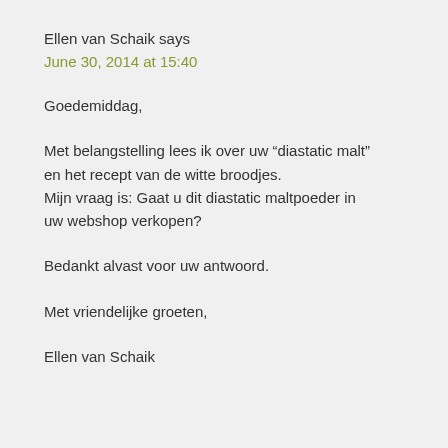Ellen van Schaik says
June 30, 2014 at 15:40
Goedemiddag,
Met belangstelling lees ik over uw “diastatic malt” en het recept van de witte broodjes.
Mijn vraag is: Gaat u dit diastatic maltpoeder in uw webshop verkopen?
Bedankt alvast voor uw antwoord.
Met vriendelijke groeten,
Ellen van Schaik